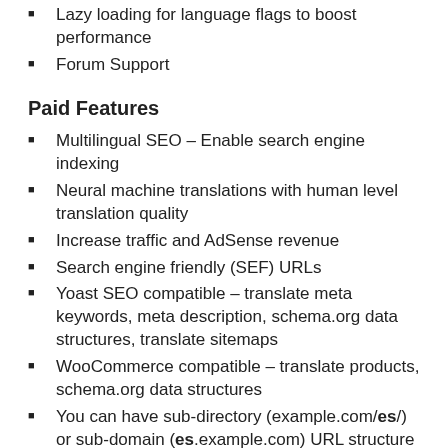Lazy loading for language flags to boost performance
Forum Support
Paid Features
Multilingual SEO – Enable search engine indexing
Neural machine translations with human level translation quality
Increase traffic and AdSense revenue
Search engine friendly (SEF) URLs
Yoast SEO compatible – translate meta keywords, meta description, schema.org data structures, translate sitemaps
WooCommerce compatible – translate products, schema.org data structures
You can have sub-directory (example.com/es/) or sub-domain (es.example.com) URL structure
URL Translation aka slug translation is possible